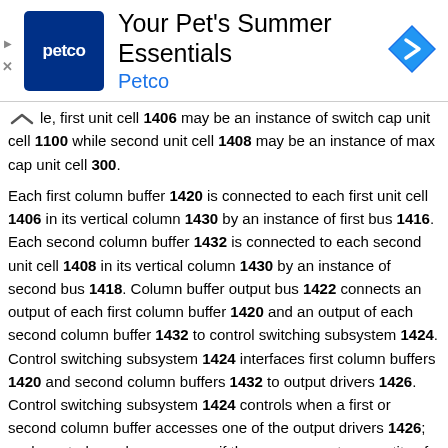[Figure (other): Petco advertisement banner with logo, headline 'Your Pet's Summer Essentials', brand name 'Petco', and a blue navigation arrow icon]
le, first unit cell 1406 may be an instance of switch cap unit cell 1100 while second unit cell 1408 may be an instance of max cap unit cell 300.
Each first column buffer 1420 is connected to each first unit cell 1406 in its vertical column 1430 by an instance of first bus 1416. Each second column buffer 1432 is connected to each second unit cell 1408 in its vertical column 1430 by an instance of second bus 1418. Column buffer output bus 1422 connects an output of each first column buffer 1420 and an output of each second column buffer 1432 to control switching subsystem 1424. Control switching subsystem 1424 interfaces first column buffers 1420 and second column buffers 1432 to output drivers 1426. Control switching subsystem 1424 controls when a first or second column buffer accesses one of the output drivers 1426; such control may be necessary if there are a greater quantity of column buffers 1420 and 1432 than output drivers 1426.
FPA 1400 may be operated in a plurality of modes, and an operating mode for first unit cells 1406 may be different from an operating mode for second unit cells 1408. One or more operating modes can be selected such that FPA 1400 best meets the needs of its application.